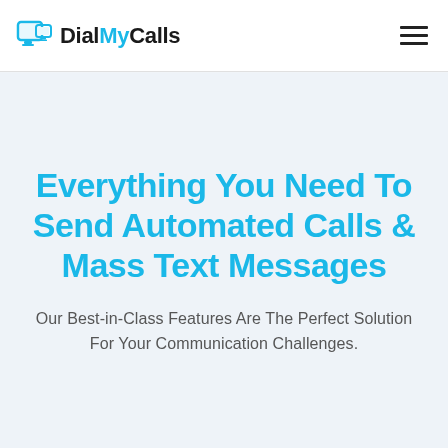DialMyCalls
Everything You Need To Send Automated Calls & Mass Text Messages
Our Best-in-Class Features Are The Perfect Solution For Your Communication Challenges.